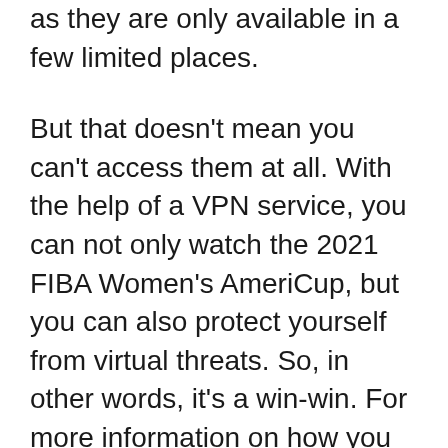as they are only available in a few limited places.
But that doesn't mean you can't access them at all. With the help of a VPN service, you can not only watch the 2021  FIBA Women's AmeriCup, but you can also protect yourself from virtual threats. So, in other words, it's a win-win. For more information on how you can set up a VPN, follow the steps which i provide above.